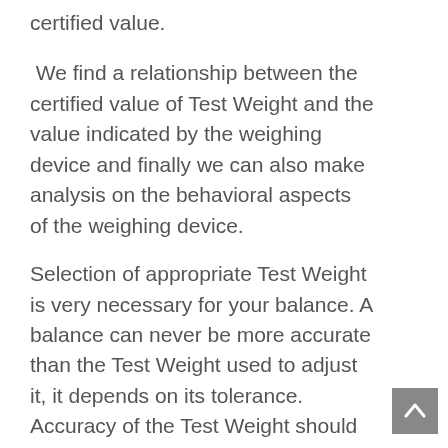certified value.
We find a relationship between the certified value of Test Weight and the value indicated by the weighing device and finally we can also make analysis on the behavioral aspects of the weighing device.
Selection of appropriate Test Weight is very necessary for your balance. A balance can never be more accurate than the Test Weight used to adjust it, it depends on its tolerance. Accuracy of the Test Weight should correspond to the readout of the balance, rather than something better. SWPI's Cast Iron Test Weights are intended for